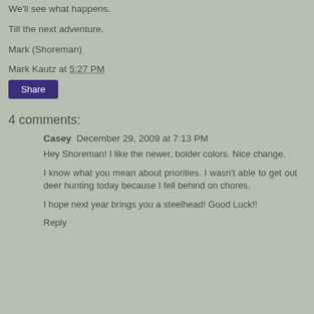We'll see what happens.
Till the next adventure.
Mark (Shoreman)
Mark Kautz at 5:27 PM
Share
4 comments:
Casey  December 29, 2009 at 7:13 PM
Hey Shoreman! I like the newer, bolder colors. Nice change.
I know what you mean about priorities. I wasn't able to get out deer hunting today because I fell behind on chores.
I hope next year brings you a steelhead! Good Luck!!
Reply